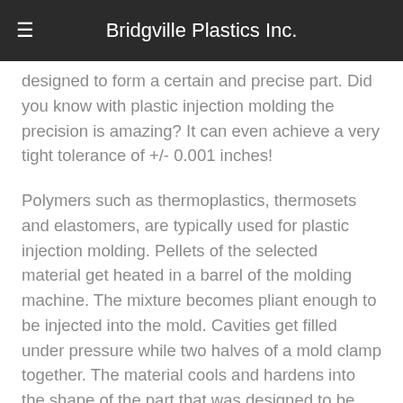Bridgville Plastics Inc.
designed to form a certain and precise part. Did you know with plastic injection molding the precision is amazing? It can even achieve a very tight tolerance of +/- 0.001 inches!
Polymers such as thermoplastics, thermosets and elastomers, are typically used for plastic injection molding. Pellets of the selected material get heated in a barrel of the molding machine. The mixture becomes pliant enough to be injected into the mold. Cavities get filled under pressure while two halves of a mold clamp together. The material cools and hardens into the shape of the part that was designed to be made by this mold. Then it's time to make another part, so the process repeats after one cool part is removed, so that hot material can be put back in